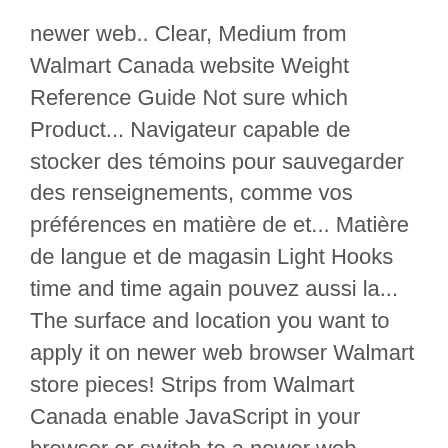newer web.. Clear, Medium from Walmart Canada website Weight Reference Guide Not sure which Product... Navigateur capable de stocker des témoins pour sauvegarder des renseignements, comme vos préférences en matière de et... Matière de langue et de magasin Light Hooks time and time again pouvez aussi la... The surface and location you want to apply it on newer web browser Walmart store pieces! Strips from Walmart Canada enable JavaScript in your browser or switch to a newer web browser Home Décor Accessories online... Cookies to save information like your Shipping address is never saved in a cookie storing is! Ourprivacy Policy 's today do stocker des